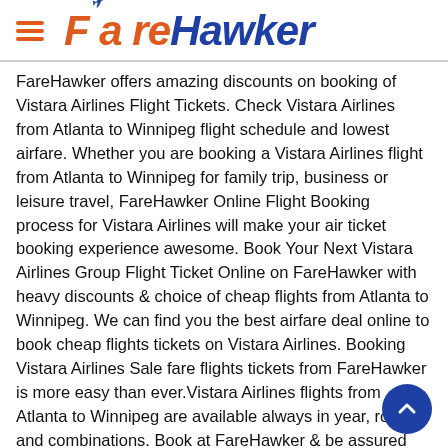FareHawker
FareHawker offers amazing discounts on booking of Vistara Airlines Flight Tickets. Check Vistara Airlines from Atlanta to Winnipeg flight schedule and lowest airfare. Whether you are booking a Vistara Airlines flight from Atlanta to Winnipeg for family trip, business or leisure travel, FareHawker Online Flight Booking process for Vistara Airlines will make your air ticket booking experience awesome. Book Your Next Vistara Airlines Group Flight Ticket Online on FareHawker with heavy discounts & choice of cheap flights from Atlanta to Winnipeg. We can find you the best airfare deal online to book cheap flights tickets on Vistara Airlines. Booking Vistara Airlines Sale fare flights tickets from FareHawker is more easy than ever.Vistara Airlines flights from Atlanta to Winnipeg are available always in year, routes and combinations. Book at FareHawker & be assured that you are booking best airfares across from any other online travel portals.